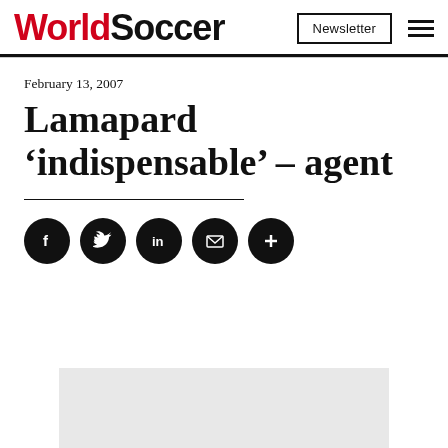WorldSoccer — Newsletter — Menu
February 13, 2007
Lamapard ‘indispensable’ – agent
[Figure (other): Social sharing icons: Facebook, Twitter, LinkedIn, Email, More]